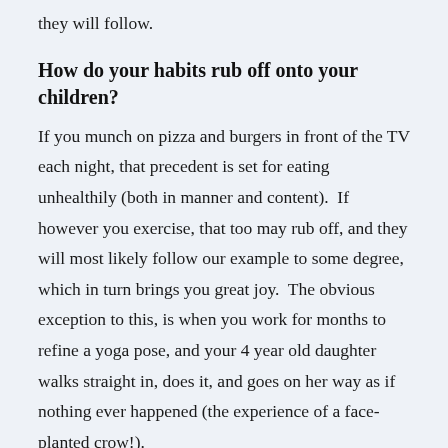they will follow.
How do your habits rub off onto your children?
If you munch on pizza and burgers in front of the TV each night, that precedent is set for eating unhealthily (both in manner and content).  If however you exercise, that too may rub off, and they will most likely follow our example to some degree, which in turn brings you great joy.  The obvious exception to this, is when you work for months to refine a yoga pose, and your 4 year old daughter walks straight in, does it, and goes on her way as if nothing ever happened (the experience of a face-planted crow!).
Is there a better way than forcing our children to follow